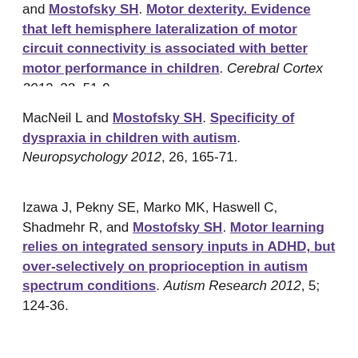and Mostofsky SH. Motor dexterity. Evidence that left hemisphere lateralization of motor circuit connectivity is associated with better motor performance in children. Cerebral Cortex 2012, 22, 51-9.
MacNeil L and Mostofsky SH. Specificity of dyspraxia in children with autism. Neuropsychology 2012, 26, 165-71.
Izawa J, Pekny SE, Marko MK, Haswell C, Shadmehr R, and Mostofsky SH. Motor learning relies on integrated sensory inputs in ADHD, but over-selectively on proprioception in autism spectrum conditions. Autism Research 2012, 5; 124-36.